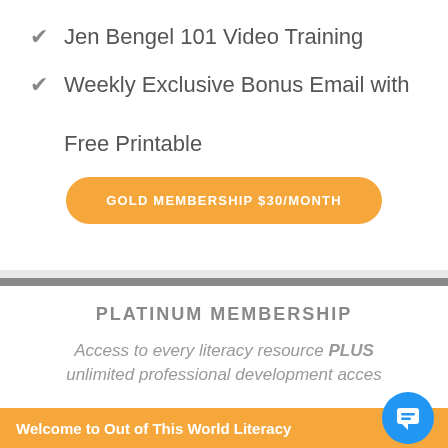Jen Bengel 101 Video Training
Weekly Exclusive Bonus Email with Free Printable
GOLD MEMBERSHIP $30/MONTH
PLATINUM MEMBERSHIP
Access to every literacy resource PLUS unlimited professional development acces…
Welcome to Out of This World Literacy